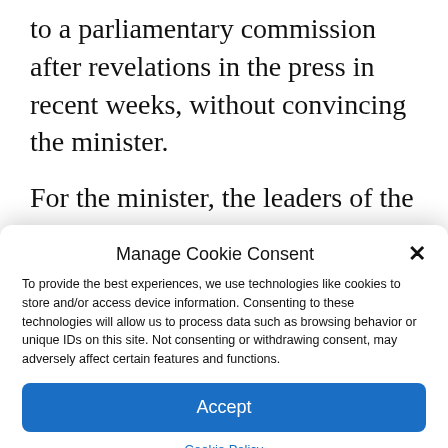to a parliamentary commission after revelations in the press in recent weeks, without convincing the minister.

For the minister, the leaders of the organization had a reaction “inappropriate” and “from another era”. The investigation has not, in fact, been completed and all the
Manage Cookie Consent
To provide the best experiences, we use technologies like cookies to store and/or access device information. Consenting to these technologies will allow us to process data such as browsing behavior or unique IDs on this site. Not consenting or withdrawing consent, may adversely affect certain features and functions.
Accept
Cookie Policy